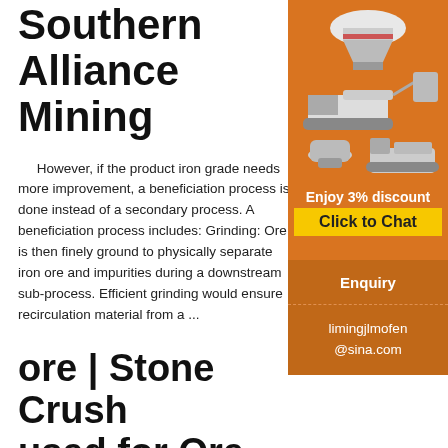Southern Alliance Mining
However, if the product iron grade needs more improvement, a beneficiation process is done instead of a secondary process. A beneficiation process includes: Grinding: Ore is then finely ground to physically separate iron ore and impurities during a downstream sub-process. Efficient grinding would ensure recirculation material from a ...
ore | Stone Crusher used for Ore Beneficiation Process Plant
Mar 01, 2012 · There are various types of equipment involves in the lead ore beneficiation
[Figure (illustration): Mining machinery equipment advertisement on orange background showing crushers and screening equipment]
Enjoy 3% discount
Click to Chat
Enquiry
limingjlmofen@sina.com